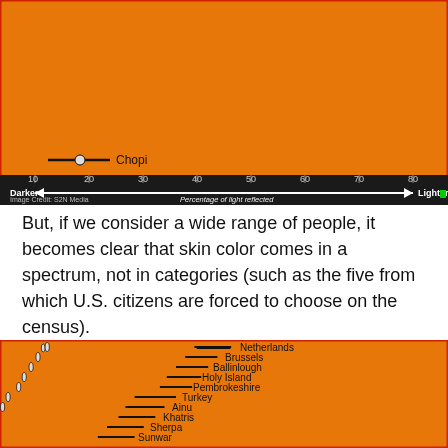[Figure (infographic): Skin reflectance chart showing Chopi group on an orange background with a dark scale bar at bottom ranging from 10 (Darker) to 80 (Lighter), showing percentage of light reflected. Image Credit: S2N Media.]
But, if we consider a wide range of people, it becomes clear that skin color comes in a spectrum, not in categories (such as the five from which U.S. citizens are forced to choose on the census).
[Figure (infographic): Skin reflectance chart on orange background showing multiple groups (Netherlands, Brussels, Ballinlough, Holy Island, Pembrokeshire, Turkey, Ainu, Khatris, Sherpa, Sunwar, Jirel, Namaqualand, Ghanzi, Lone Tree, Sudan) plotted as horizontal lines with dots on a dark measurement scale, arranged from lightest at top to darkest at bottom.]